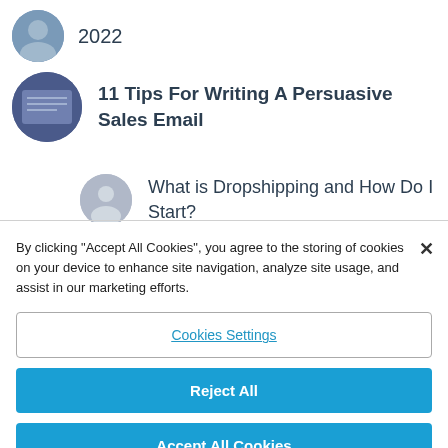2022
11 Tips For Writing A Persuasive Sales Email
What is Dropshipping and How Do I Start?
By clicking “Accept All Cookies”, you agree to the storing of cookies on your device to enhance site navigation, analyze site usage, and assist in our marketing efforts.
Cookies Settings
Reject All
Accept All Cookies